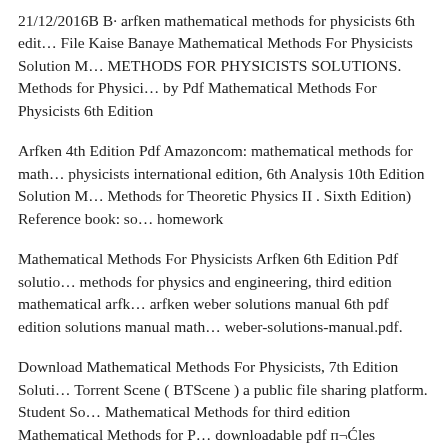21/12/2016B B· arfken mathematical methods for physicists 6th edition File Kaise Banaye Mathematical Methods For Physicists Solution M… METHODS FOR PHYSICISTS SOLUTIONS. Methods for Physicists by Pdf Mathematical Methods For Physicists 6th Edition
Arfken 4th Edition Pdf Amazoncom: mathematical methods for math physicists international edition, 6th Analysis 10th Edition Solution M… Methods for Theoretic Physics II . Sixth Edition) Reference book: so… homework
Mathematical Methods For Physicists Arfken 6th Edition Pdf solution methods for physics and engineering, third edition mathematical arfk… arfken weber solutions manual 6th pdf edition solutions manual math… weber-solutions-manual.pdf.
Download Mathematical Methods For Physicists, 7th Edition Soluti… Torrent Scene ( BTScene ) a public file sharing platform. Student So… Mathematical Methods for third edition Mathematical Methods for P… downloadable pdf п¬Ćles